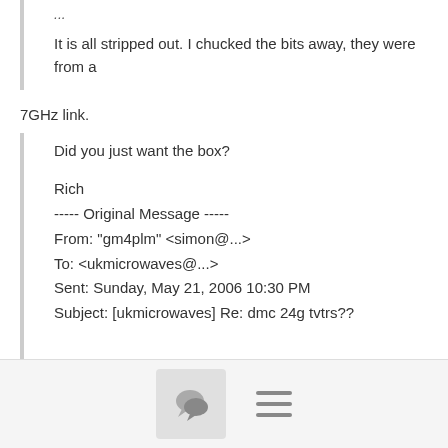It is all stripped out. I chucked the bits away, they were from a
7GHz link.
Did you just want the box?

Rich
----- Original Message -----
From: "gm4plm" <simon@...>
To: <ukmicrowaves@...>
Sent: Sunday, May 21, 2006 10:30 PM
Subject: [ukmicrowaves] Re: dmc 24g tvtrs??
Rich thats fine!